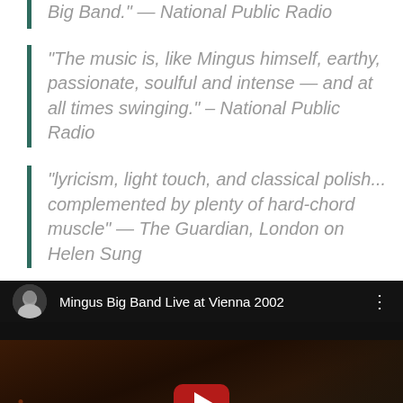“Big Band.” — National Public Radio
“The music is, like Mingus himself, earthy, passionate, soulful and intense — and at all times swinging.” – National Public Radio
“lyricism, light touch, and classical polish… complemented by plenty of hard-chord muscle” — The Guardian, London on Helen Sung
[Figure (screenshot): YouTube video thumbnail showing 'Mingus Big Band Live at Vienna 2002' with a black-and-white circular avatar, video title, three-dot menu, and a play button over a dark stage background with 'jazz vienna' text.]